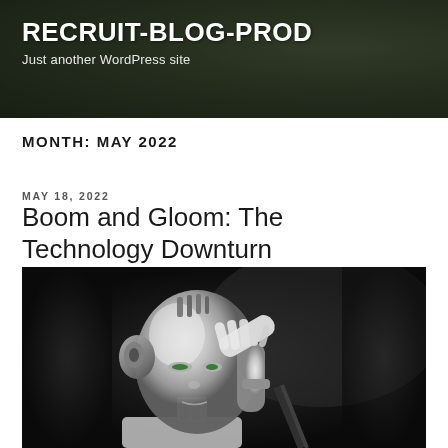RECRUIT-BLOG-PROD
Just another WordPress site
MONTH: MAY 2022
MAY 18, 2022
Boom and Gloom: The Technology Downturn
[Figure (photo): A white humanoid robot with chrome mechanical details, appearing to touch its forehead with its hand, against a dark background. The robot has a feminine face with green eyes and an introspective pose.]